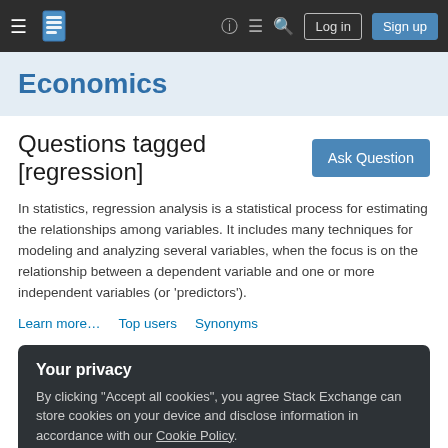Economics Stack Exchange navigation bar with hamburger menu, logo, help, chat, search, Log in and Sign up buttons
Economics
Questions tagged [regression]
In statistics, regression analysis is a statistical process for estimating the relationships among variables. It includes many techniques for modeling and analyzing several variables, when the focus is on the relationship between a dependent variable and one or more independent variables (or 'predictors').
Learn more…
Top users
Synonyms
Your privacy
By clicking "Accept all cookies", you agree Stack Exchange can store cookies on your device and disclose information in accordance with our Cookie Policy.
Accept all cookies  Customize settings
Is program evaluation (DiD, RD) a structural estimation?